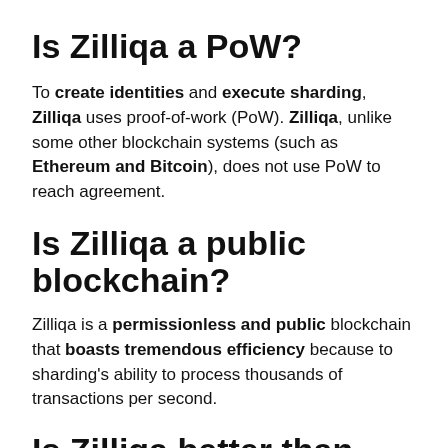Is Zilliqa a PoW?
To create identities and execute sharding, Zilliqa uses proof-of-work (PoW). Zilliqa, unlike some other blockchain systems (such as Ethereum and Bitcoin), does not use PoW to reach agreement.
Is Zilliqa a public blockchain?
Zilliqa is a permissionless and public blockchain that boasts tremendous efficiency because to sharding's ability to process thousands of transactions per second.
Is Zilliqa better than